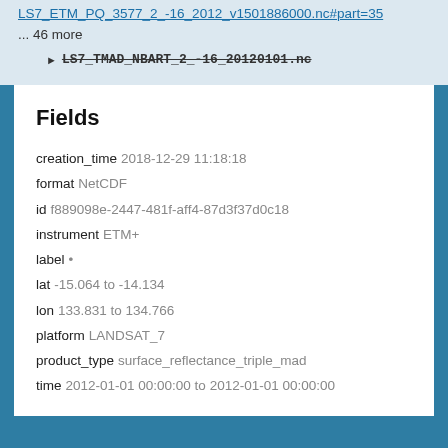LS7_ETM_PQ_3577_2_-16_2012_v1501886000.nc#part=35
... 46 more
LS7_TMAD_NBART_2_-16_20120101.nc
Fields
creation_time 2018-12-29 11:18:18
format NetCDF
id f889098e-2447-481f-aff4-87d3f37d0c18
instrument ETM+
label •
lat -15.064 to -14.134
lon 133.831 to 134.766
platform LANDSAT_7
product_type surface_reflectance_triple_mad
time 2012-01-01 00:00:00 to 2012-01-01 00:00:00